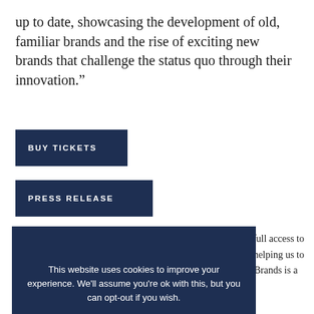up to date, showcasing the development of old, familiar brands and the rise of exciting new brands that challenge the status quo through their innovation.”
BUY TICKETS
PRESS RELEASE
This website uses cookies to improve your experience. We’ll assume you’re ok with this, but you can opt-out if you wish.
Accept
Read More
le full access to re helping us to of Brands is a